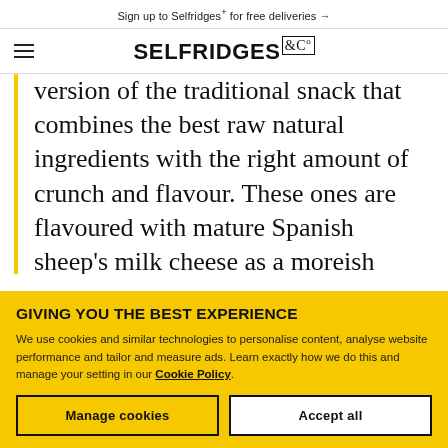Sign up to Selfridges+ for free deliveries →
SELFRIDGES & Co
version of the traditional snack that combines the best raw natural ingredients with the right amount of crunch and flavour. These ones are flavoured with mature Spanish sheep's milk cheese as a moreish
GIVING YOU THE BEST EXPERIENCE
We use cookies and similar technologies to personalise content, analyse website performance and tailor and measure ads. Learn exactly how we do this and manage your setting in our Cookie Policy.
Manage cookies
Accept all